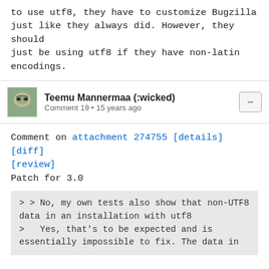to use utf8, they have to customize Bugzilla just like they always did. However, they should just be using utf8 if they have non-latin encodings.
Teemu Mannermaa (:wicked)
Comment 19 • 15 years ago
Comment on attachment 274755 [details] [diff] [review]
Patch for 3.0
> > No, my own tests also show that non-UTF8 data in an installation with utf8
>   Yes, that's to be expected and is essentially impossible to fix. The data in
No, problem is that we SAY it's UTF8 even for latin1 encoded strings. This obviously breaks decoding process and standard compliant systems